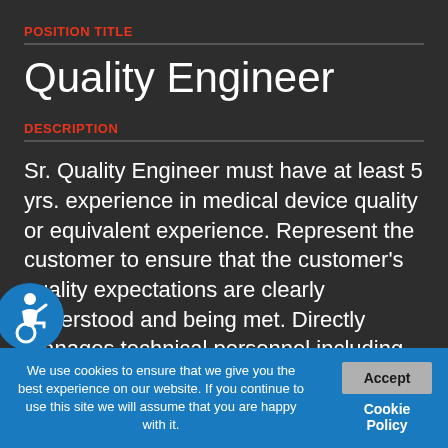POSITION TITLE
Quality Engineer
DESCRIPTION
Sr. Quality Engineer must have at least 5 yrs. experience in medical device quality or equivalent experience. Represent the customer to ensure that the customer's quality expectations are clearly understood and being met. Directly manages technical personnel including inspectors, programmers, and quality engineers. Supports
[Figure (illustration): Blue circular accessibility icon with wheelchair user symbol]
We use cookies to ensure that we give you the best experience on our website. If you continue to use this site we will assume that you are happy with it.
Accept
Cookie Policy